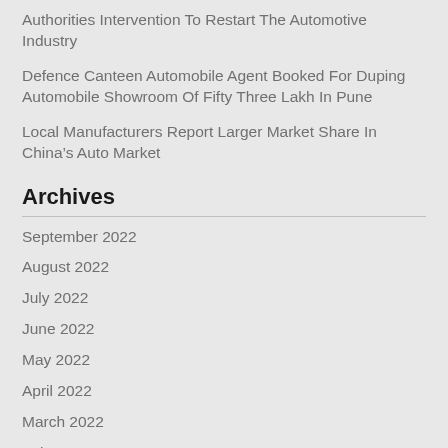Authorities Intervention To Restart The Automotive Industry
Defence Canteen Automobile Agent Booked For Duping Automobile Showroom Of Fifty Three Lakh In Pune
Local Manufacturers Report Larger Market Share In China’s Auto Market
Archives
September 2022
August 2022
July 2022
June 2022
May 2022
April 2022
March 2022
February 2022